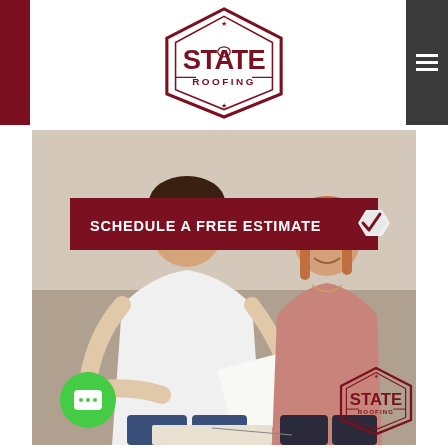[Figure (logo): State Roofing hexagonal logo in dark red/maroon with stars and Washington state outline]
[Figure (photo): A couple (man in white shirt and woman in pink top) sitting together looking at documents, with a 'Schedule a Free Estimate' banner overlay, a green chat button bottom left, and State Roofing watermark logo bottom right]